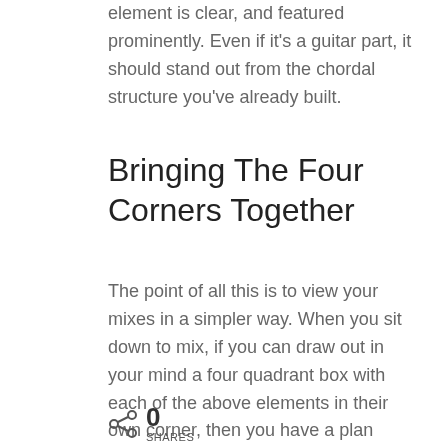element is clear, and featured prominently. Even if it's a guitar part, it should stand out from the chordal structure you've already built.
Bringing The Four Corners Together
The point of all this is to view your mixes in a simpler way. When you sit down to mix, if you can draw out in your mind a four quadrant box with each of the above elements in their own corner, then you have a plan when it comes time to turn knobs and make magic
0 SHARES